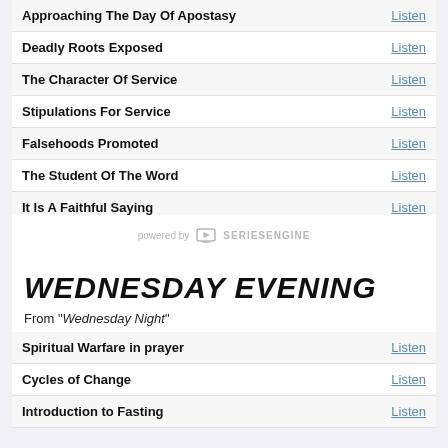Approaching The Day Of Apostasy — Listen
Deadly Roots Exposed — Listen
The Character Of Service — Listen
Stipulations For Service — Listen
Falsehoods Promoted — Listen
The Student Of The Word — Listen
It Is A Faithful Saying — Listen
The Suffering Servant — Listen
[Figure (logo): powered by SeriesEngine logo - a small TV/monitor icon with text 'powered by SERIESENGINE']
WEDNESDAY EVENING
From "Wednesday Night"
Spiritual Warfare in prayer — Listen
Cycles of Change — Listen
Introduction to Fasting — Listen